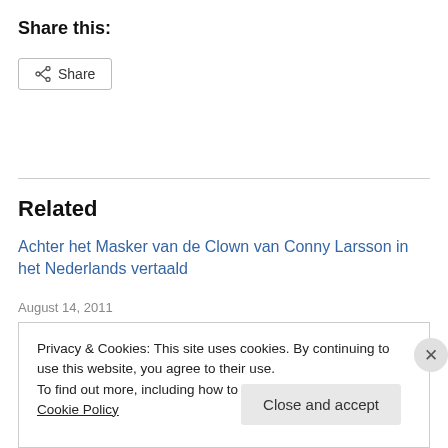Share this:
[Figure (other): Share button with share icon and label 'Share']
Related
Achter het Masker van de Clown van Conny Larsson in het Nederlands vertaald
August 14, 2011
Privacy & Cookies: This site uses cookies. By continuing to use this website, you agree to their use. To find out more, including how to control cookies, see here: Cookie Policy
Close and accept